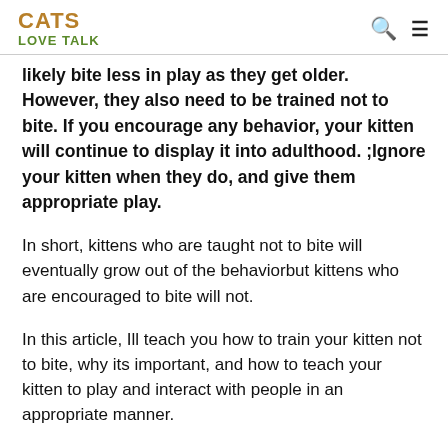CATS LOVE TALK
likely bite less in play as they get older. However, they also need to be trained not to bite. If you encourage any behavior, your kitten will continue to display it into adulthood. ;Ignore your kitten when they do, and give them appropriate play.
In short, kittens who are taught not to bite will eventually grow out of the behaviorbut kittens who are encouraged to bite will not.
In this article, Ill teach you how to train your kitten not to bite, why its important, and how to teach your kitten to play and interact with people in an appropriate manner.
Ill also discuss why you shouldnt provoke your kitten into biting or punish them for it, and explain why getting a